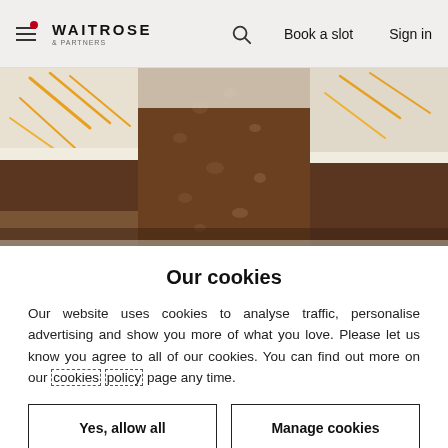Waitrose & Partners — Book a slot — Sign in
[Figure (photo): Close-up photo of slices of a layered cake with white frosting/cream and brown sponge, decorated with orange zest strands on top]
Our cookies
Our website uses cookies to analyse traffic, personalise advertising and show you more of what you love. Please let us know you agree to all of our cookies. You can find out more on our cookies policy page any time.
Yes, allow all
Manage cookies